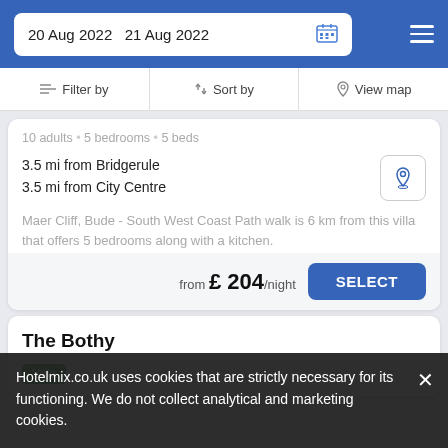20 Aug 2022  21 Aug 2022
Filter by  |  Sort by  |  View map
10 adults • 5 bedrooms • 5 beds
3.5 mi from Bridgerule
3.5 mi from City Centre
Maer Cliff, Bude - South West Coast Path walk is 6 km from this villa that offers 5 bedrooms along with a kitchen.
from £ 204/night
The Bothy
Villa
Hotelmix.co.uk uses cookies that are strictly necessary for its functioning. We do not collect analytical and marketing cookies.